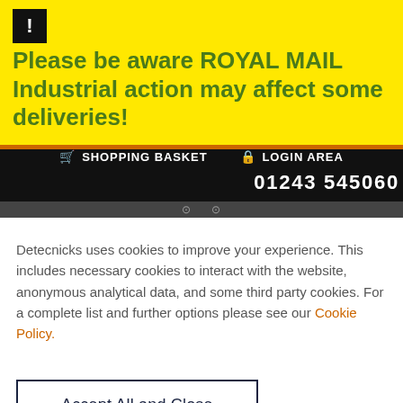Please be aware ROYAL MAIL Industrial action may affect some deliveries!
🛒 SHOPPING BASKET   🔒 LOGIN AREA
01243 545060
Detecnicks uses cookies to improve your experience. This includes necessary cookies to interact with the website, anonymous analytical data, and some third party cookies. For a complete list and further options please see our Cookie Policy.
Accept All and Close